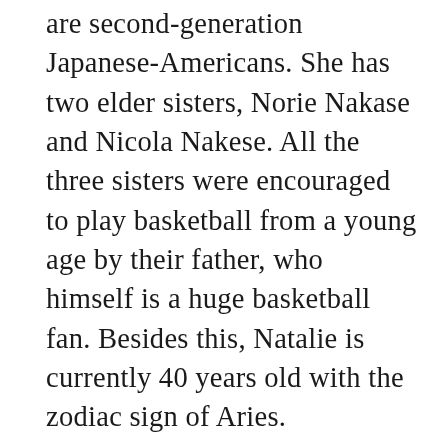are second-generation Japanese-Americans. She has two elder sisters, Norie Nakase and Nicola Nakese. All the three sisters were encouraged to play basketball from a young age by their father, who himself is a huge basketball fan. Besides this, Natalie is currently 40 years old with the zodiac sign of Aries.